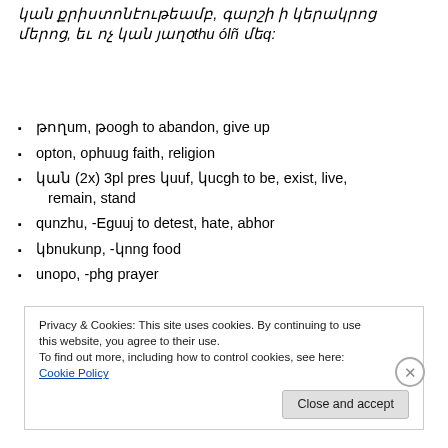կան քրիստոնէութեամբ, գարշի ի կերակրոց մերոց, եւ ոչ կան յաղօթu ólñ մեq:
թողում, թողh to abandon, give up
օրէնք, օրինաց faith, religion
կան (2x) 3pl pres կամ, կացի to be, exist, live, remain, stand
գարշիմ, -եցայ to detest, hate, abhor
կերակուր, -կրոց food
աղօթք, -թից prayer
Privacy & Cookies: This site uses cookies. By continuing to use this website, you agree to their use. To find out more, including how to control cookies, see here: Cookie Policy
Close and accept